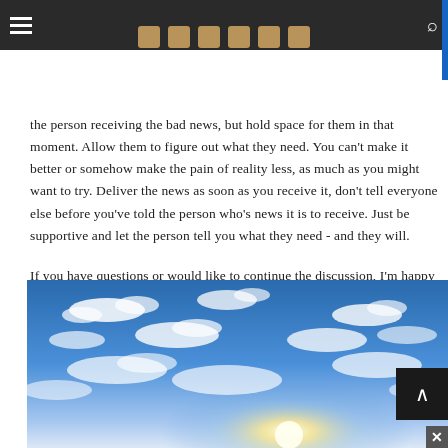Navigation and social sharing header bar
the person receiving the bad news, but hold space for them in that moment. Allow them to figure out what they need. You can't make it better or somehow make the pain of reality less, as much as you might want to try. Deliver the news as soon as you receive it, don't tell everyone else before you've told the person who's news it is to receive. Just be supportive and let the person tell you what they need - and they will.
If you have questions or would like to continue the discussion, I'm happy to help in anyway I can.
[Figure (photo): Photograph of a blue sky with scattered clouds and bright sunlight shining through]